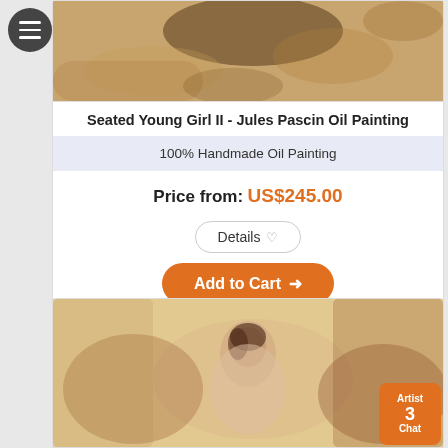[Figure (photo): Top portion of an oil painting showing abstract/impressionist figures with warm earth tones]
Seated Young Girl II - Jules Pascin Oil Painting
100% Handmade Oil Painting
Price from: US$245.00
Details
Add to Cart
[Figure (photo): Oil painting of a seated young woman with dark hair, soft impressionist style with warm beige and brown tones]